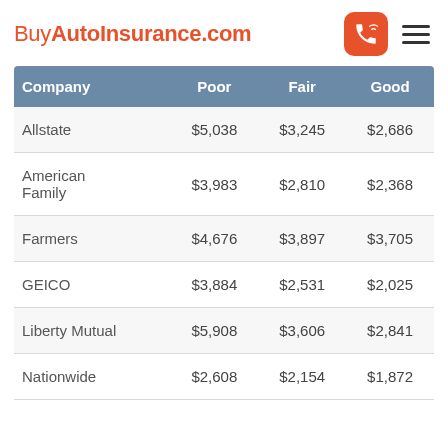BuyAutoInsurance.com
| Company | Poor | Fair | Good |
| --- | --- | --- | --- |
| Allstate | $5,038 | $3,245 | $2,686 |
| American Family | $3,983 | $2,810 | $2,368 |
| Farmers | $4,676 | $3,897 | $3,705 |
| GEICO | $3,884 | $2,531 | $2,025 |
| Liberty Mutual | $5,908 | $3,606 | $2,841 |
| Nationwide | $2,608 | $2,154 | $1,872 |